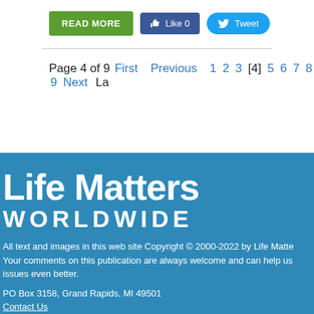[Figure (screenshot): READ MORE button (green), Like 0 button (blue/Facebook), Tweet button (Twitter blue)]
Page 4 of 9 First Previous 1 2 3 [4] 5 6 7 8 9 Next La
[Figure (logo): Life Matters Worldwide logo in white text on blue background]
All text and images in this web site Copyright © 2000-2022 by Life Matte Your comments on this publication are always welcome and can help us issues even better.
PO Box 3158, Grand Rapids, MI 49501
Contact Us